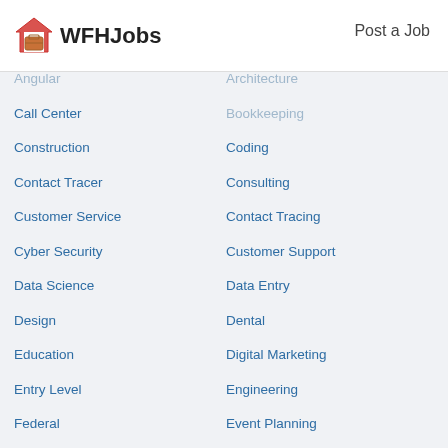WFHJobs | Post a Job
Angular
Architecture
Bookkeeping
Call Center
Coding
Construction
Consulting
Contact Tracer
Contact Tracing
Customer Service
Customer Support
Cyber Security
Data Entry
Data Science
Dental
Design
Digital Marketing
Education
Engineering
Entry Level
Event Planning
Federal
Finance
Flex
Food Industry
Freelance
Freelance Writing
Graphic Design
Healthcare
Hospitality
HR & Recruiting
Human Resources
Insurance
IT
JavaScript